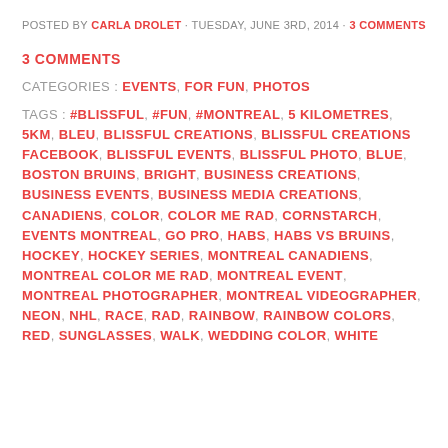POSTED BY CARLA DROLET · TUESDAY, JUNE 3RD, 2014 · 3 COMMENTS
3 COMMENTS
CATEGORIES : EVENTS, FOR FUN, PHOTOS
TAGS : #BLISSFUL, #FUN, #MONTREAL, 5 KILOMETRES, 5KM, BLEU, BLISSFUL CREATIONS, BLISSFUL CREATIONS FACEBOOK, BLISSFUL EVENTS, BLISSFUL PHOTO, BLUE, BOSTON BRUINS, BRIGHT, BUSINESS CREATIONS, BUSINESS EVENTS, BUSINESS MEDIA CREATIONS, CANADIENS, COLOR, COLOR ME RAD, CORNSTARCH, EVENTS MONTREAL, GO PRO, HABS, HABS VS BRUINS, HOCKEY, HOCKEY SERIES, MONTREAL CANADIENS, MONTREAL COLOR ME RAD, MONTREAL EVENT, MONTREAL PHOTOGRAPHER, MONTREAL VIDEOGRAPHER, NEON, NHL, RACE, RAD, RAINBOW, RAINBOW COLORS, RED, SUNGLASSES, WALK, WEDDING COLOR, WHITE